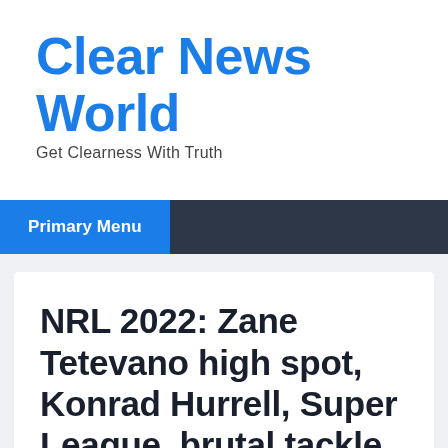Clear News World
Get Clearness With Truth
Primary Menu
NRL 2022: Zane Tetevano high spot, Konrad Hurrell, Super League, brutal tackle, red card, sent off, news